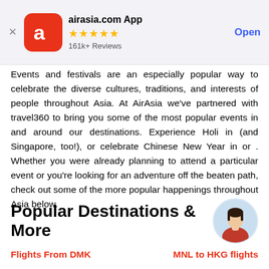[Figure (screenshot): AirAsia.com App banner with red app icon, 4.5 star rating, 161k+ Reviews, and Open button]
Events and festivals are an especially popular way to celebrate the diverse cultures, traditions, and interests of people throughout Asia. At AirAsia we've partnered with travel360 to bring you some of the most popular events in and around our destinations. Experience Holi in (and Singapore, too!), or celebrate Chinese New Year in or . Whether you were already planning to attend a particular event or you're looking for an adventure off the beaten path, check out some of the more popular happenings throughout Asia below.
Popular Destinations & More
Flights From DMK
MNL to HKG flights